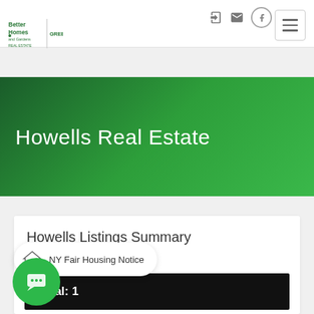[Figure (logo): Better Homes and Gardens Real Estate Green Team logo with text GREEN TEAM]
Howells Real Estate
Howells Listings Summary
NY Fair Housing Notice
Total: 1